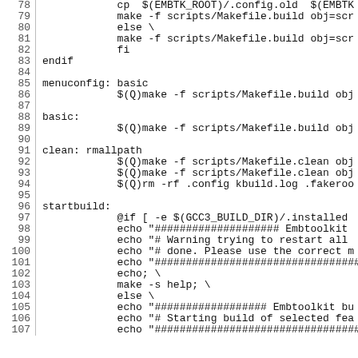Makefile code listing, lines 78-107, showing shell script targets including menuconfig, basic, clean, startbuild with associated make commands and echo statements.